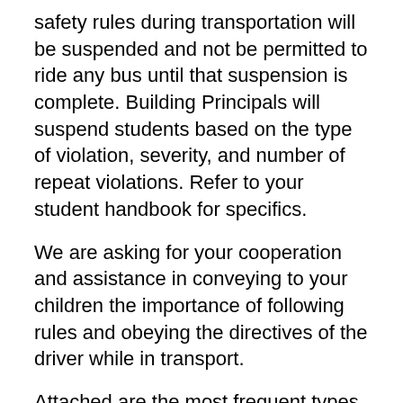safety rules during transportation will be suspended and not be permitted to ride any bus until that suspension is complete. Building Principals will suspend students based on the type of violation, severity, and number of repeat violations. Refer to your student handbook for specifics.
We are asking for your cooperation and assistance in conveying to your children the importance of following rules and obeying the directives of the driver while in transport.
Attached are the most frequent types of behavior that have become so distracting that a safe transport becomes a major concern.
Children must sit on the bus. Standing while moving is a serious violation. Standing will